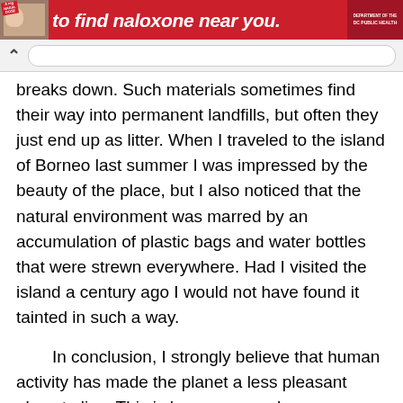[Figure (screenshot): Red banner advertisement for naloxone with photo and logo, text 'to find naloxone near you.']
breaks down. Such materials sometimes find their way into permanent landfills, but often they just end up as litter. When I traveled to the island of Borneo last summer I was impressed by the beauty of the place, but I also noticed that the natural environment was marred by an accumulation of plastic bags and water bottles that were strewn everywhere. Had I visited the island a century ago I would not have found it tainted in such a way.
In conclusion, I strongly believe that human activity has made the planet a less pleasant place to live. This is because people are more likely to suffer from the effects of pollution than in the past, and because humans create garbage which has